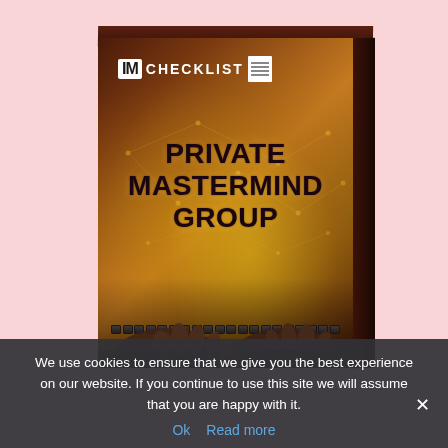[Figure (illustration): 3D product box for 'IM Checklist - Private Mastermind Group'. The box has a dark brown/maroon color scheme with golden glow effects, a network of glowing lines, a person's hands on a keyboard visible at the bottom, the IM Checklist logo at the top, and bold text reading 'PRIVATE MASTERMIND GROUP' in the center.]
We use cookies to ensure that we give you the best experience on our website. If you continue to use this site we will assume that you are happy with it.
Ok   Read more